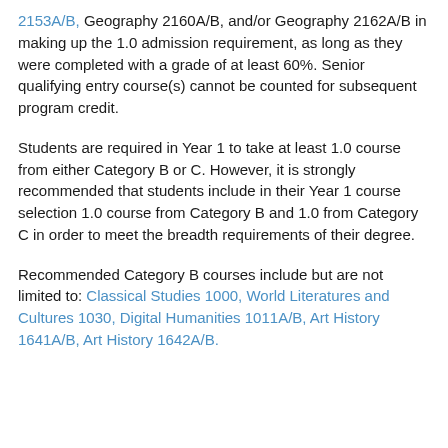2153A/B, Geography 2160A/B, and/or Geography 2162A/B in making up the 1.0 admission requirement, as long as they were completed with a grade of at least 60%. Senior qualifying entry course(s) cannot be counted for subsequent program credit.
Students are required in Year 1 to take at least 1.0 course from either Category B or C. However, it is strongly recommended that students include in their Year 1 course selection 1.0 course from Category B and 1.0 from Category C in order to meet the breadth requirements of their degree.
Recommended Category B courses include but are not limited to: Classical Studies 1000, World Literatures and Cultures 1030, Digital Humanities 1011A/B, Art History 1641A/B, Art History 1642A/B.